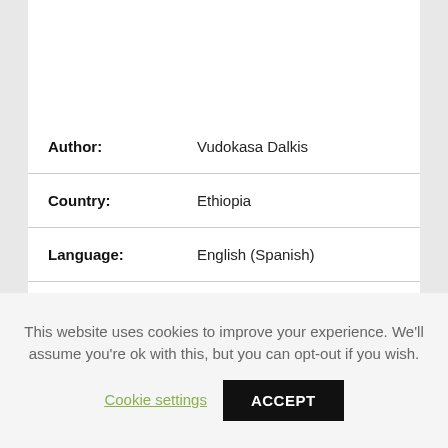| Field | Value |
| --- | --- |
| Author: | Vudokasa Dalkis |
| Country: | Ethiopia |
| Language: | English (Spanish) |
| Genre: | Personal Growth |
| Published (Last): | 18 August 2017 |
| Pages: | 414 |
This website uses cookies to improve your experience. We'll assume you're ok with this, but you can opt-out if you wish.
Cookie settings
ACCEPT